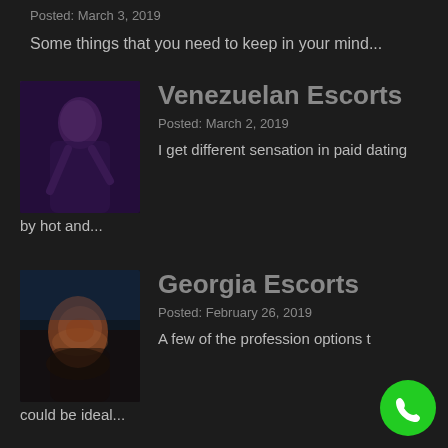Posted: March 3, 2019
Some things that you need to keep in your mind...
Venezuelan Escorts
Posted: March 2, 2019
I get different sensation in paid dating by hot and...
Georgia Escorts
Posted: February 26, 2019
A few of the profession options t could be ideal...
[Figure (illustration): Thumbnail image for Venezuelan Escorts post showing a figure in dark purple tones]
[Figure (illustration): Thumbnail image for Georgia Escorts post showing a woman with curly red hair]